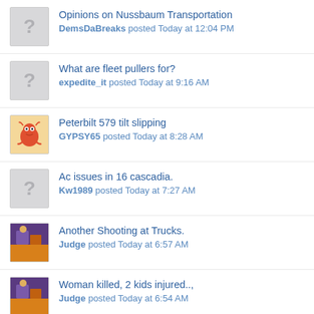Opinions on Nussbaum Transportation
DemsDaBreaks posted Today at 12:04 PM
What are fleet pullers for?
expedite_it posted Today at 9:16 AM
Peterbilt 579 tilt slipping
GYPSY65 posted Today at 8:28 AM
Ac issues in 16 cascadia.
Kw1989 posted Today at 7:27 AM
Another Shooting at Trucks.
Judge posted Today at 6:57 AM
Woman killed, 2 kids injured..,
Judge posted Today at 6:54 AM
Gillette, wy
Thore posted Today at 4:37 AM
Forums ... | Truckers Report V3 - Revisions